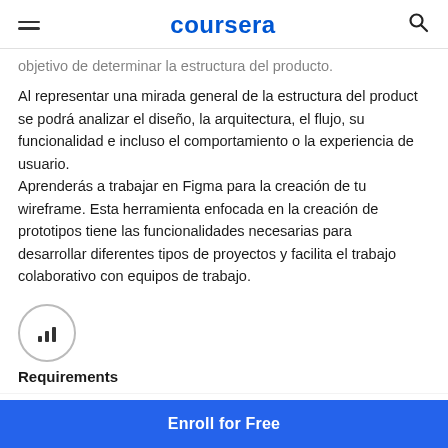coursera
objetivo de determinar la estructura del producto. Al representar una mirada general de la estructura del producto, se podrá analizar el diseño, la arquitectura, el flujo, su funcionalidad e incluso el comportamiento o la experiencia de usuario.
Aprenderás a trabajar en Figma para la creación de tu wireframe. Esta herramienta enfocada en la creación de prototipos tiene las funcionalidades necesarias para desarrollar diferentes tipos de proyectos y facilita el trabajo colaborativo con equipos de trabajo.
[Figure (other): Bar chart icon inside a circle]
Requirements
Enroll for Free